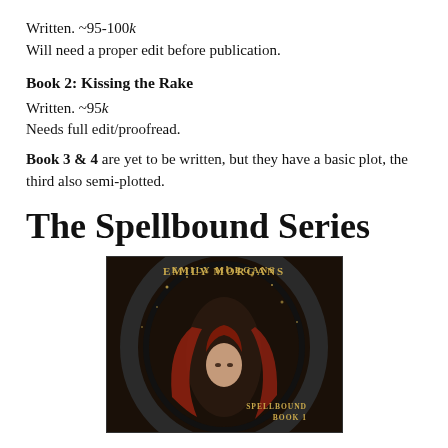Written. ~95-100k
Will need a proper edit before publication.
Book 2: Kissing the Rake
Written. ~95k
Needs full edit/proofread.
Book 3 & 4 are yet to be written, but they have a basic plot, the third also semi-plotted.
The Spellbound Series
[Figure (photo): Book cover for 'Spellbound Book 1' by Emily Morgans. Shows a red-haired woman against a dark circular background with golden sparkles. Text reads 'EMILY MORGANS' at top in gold and 'SPELLBOUND BOOK 1' at bottom right.]